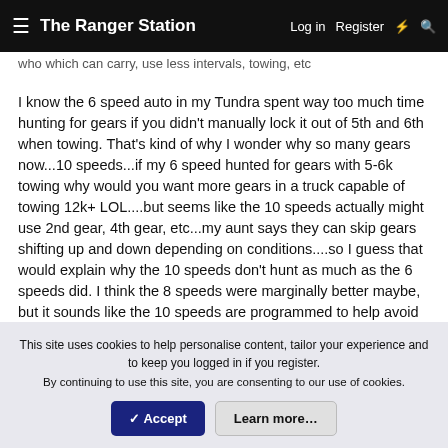The Ranger Station  Log in  Register
who which can carry, use less intervals, towing, etc
I know the 6 speed auto in my Tundra spent way too much time hunting for gears if you didn't manually lock it out of 5th and 6th when towing. That's kind of why I wonder why so many gears now...10 speeds...if my 6 speed hunted for gears with 5-6k towing why would you want more gears in a truck capable of towing 12k+ LOL....but seems like the 10 speeds actually might use 2nd gear, 4th gear, etc...my aunt says they can skip gears shifting up and down depending on conditions....so I guess that would explain why the 10 speeds don't hunt as much as the 6 speeds did. I think the 8 speeds were marginally better maybe, but it sounds like the 10 speeds are programmed to help avoid a lot of that...but I'd hope they still have an auxiliary transmission cooler especially for the weights that trucks are rated for now.
This site uses cookies to help personalise content, tailor your experience and to keep you logged in if you register.
By continuing to use this site, you are consenting to our use of cookies.